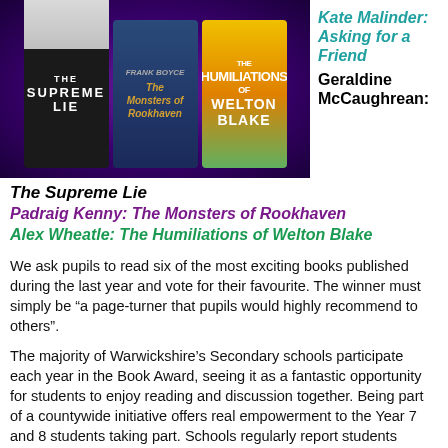[Figure (photo): Three book covers displayed against a purple cosmic background: The Supreme Lie, The Monsters of Rookhaven, and The Humiliations of Welton Blake]
Kate Malinder: Asking for a Friend
Geraldine McCaughrean:
The Supreme Lie
Padraig Kenny: The Monsters of Rookhaven
Alex Wheatle: The Humiliations of Welton Blake
We ask pupils to read six of the most exciting books published during the last year and vote for their favourite. The winner must simply be “a page-turner that pupils would highly recommend to others”.
The majority of Warwickshire’s Secondary schools participate each year in the Book Award, seeing it as a fantastic opportunity for students to enjoy reading and discussion together. Being part of a countywide initiative offers real empowerment to the Year 7 and 8 students taking part. Schools regularly report students developing a greater sense of confidence and self-esteem through the Award.
Groups will have until mid March to read and vote on the books. We hope that all schools will be able to attend the